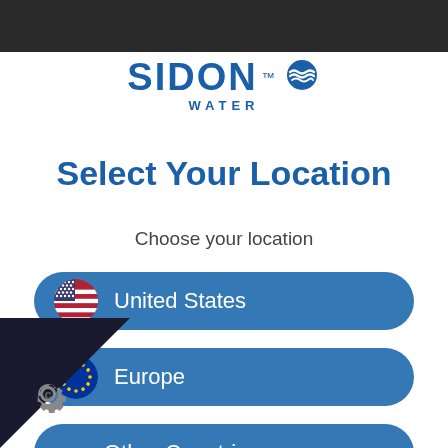[Figure (logo): Sidon Water logo with wave graphic and trademark symbol]
Select Your Location
Choose your location
United States
Europe
Other Countries